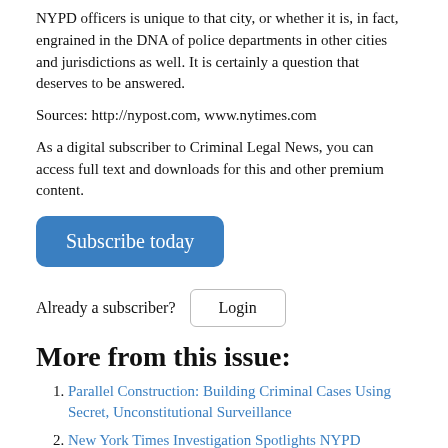NYPD officers is unique to that city, or whether it is, in fact, engrained in the DNA of police departments in other cities and jurisdictions as well. It is certainly a question that deserves to be answered.
Sources: http://nypost.com, www.nytimes.com
As a digital subscriber to Criminal Legal News, you can access full text and downloads for this and other premium content.
[Figure (other): Blue rounded rectangle button with white text 'Subscribe today']
Already a subscriber? Login
More from this issue:
Parallel Construction: Building Criminal Cases Using Secret, Unconstitutional Surveillance
New York Times Investigation Spotlights NYPD Practice of 'Testilying', by Derek Gilna
New Washington State Law Removes 'Actual Malice' Roadblock in Police Prosecutions, by Derek Gilna
Arizona Supreme Court Announces Defendants May Claim Both